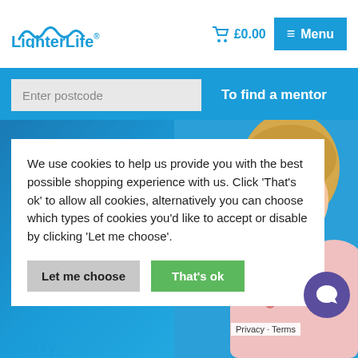[Figure (logo): LighterLife logo with wave graphic above text]
£0.00
≡ Menu
Enter postcode
To find a mentor
[Figure (photo): Smiling blonde woman in floral top on blue background]
We use cookies to help us provide you with the best possible shopping experience with us. Click 'That's ok' to allow all cookies, alternatively you can choose which types of cookies you'd like to accept or disable by clicking 'Let me choose'.
Let me choose
That's ok
Privacy · Terms
Kerry